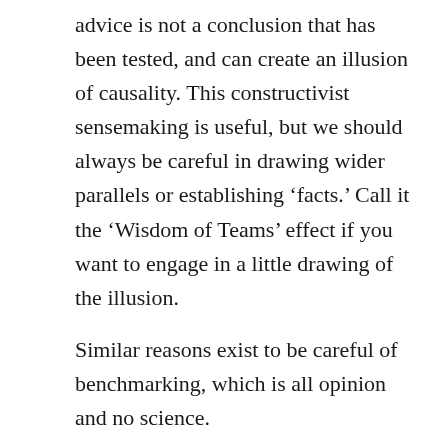advice is not a conclusion that has been tested, and can create an illusion of causality. This constructivist sensemaking is useful, but we should always be careful in drawing wider parallels or establishing ‘facts.’ Call it the ‘Wisdom of Teams’ effect if you want to engage in a little drawing of the illusion.
Similar reasons exist to be careful of benchmarking, which is all opinion and no science.
Employee Engagement
There is little to no evidence that any of the vague concepts of employee engagement actually improve productivity or even that any interventions will actually raise the scores. The only thing proven about employee engagement is the number of hours folks spend on it.